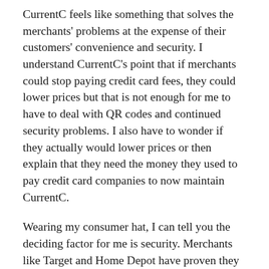CurrentC feels like something that solves the merchants' problems at the expense of their customers' convenience and security. I understand CurrentC's point that if merchants could stop paying credit card fees, they could lower prices but that is not enough for me to have to deal with QR codes and continued security problems. I also have to wonder if they actually would lower prices or then explain that they need the money they used to pay credit card companies to now maintain CurrentC.
Wearing my consumer hat, I can tell you the deciding factor for me is security. Merchants like Target and Home Depot have proven they are not capable of protecting my credit card information. I have one credit card. I'm now on my fourth number for that account this year. Apple Pay solves that entire problem. When choosing where to shop, merchants that will accept my secure Apple Pay one-time number will go to the top of the line.